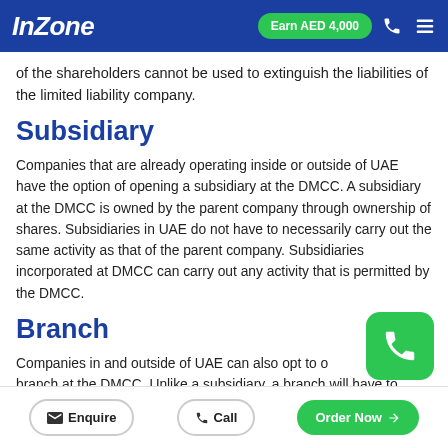InZone | Earn AED 4,000
of the shareholders cannot be used to extinguish the liabilities of the limited liability company.
Subsidiary
Companies that are already operating inside or outside of UAE have the option of opening a subsidiary at the DMCC. A subsidiary at the DMCC is owned by the parent company through ownership of shares. Subsidiaries in UAE do not have to necessarily carry out the same activity as that of the parent company. Subsidiaries incorporated at DMCC can carry out any activity that is permitted by the DMCC.
Branch
Companies in and outside of UAE can also opt to open a branch at the DMCC. Unlike a subsidiary, a branch will have to carry out the same activity as that of the parent.